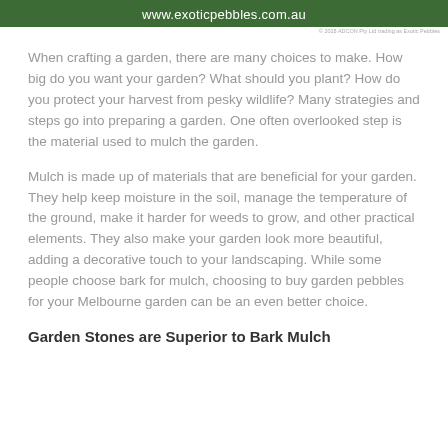www.exoticpebbles.com.au
© 2018 ADCON Pty Ltd trading as Exotic Pebbles
When crafting a garden, there are many choices to make. How big do you want your garden? What should you plant? How do you protect your harvest from pesky wildlife? Many strategies and steps go into preparing a garden. One often overlooked step is the material used to mulch the garden.
Mulch is made up of materials that are beneficial for your garden. They help keep moisture in the soil, manage the temperature of the ground, make it harder for weeds to grow, and other practical elements. They also make your garden look more beautiful, adding a decorative touch to your landscaping. While some people choose bark for mulch, choosing to buy garden pebbles for your Melbourne garden can be an even better choice.
Garden Stones are Superior to Bark Mulch